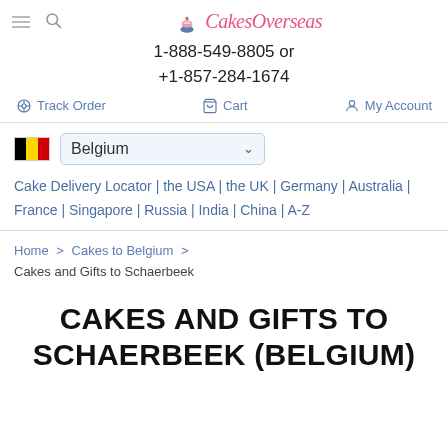CakesOverseas — 1-888-549-8805 or +1-857-284-1674 — Track Order | Cart | My Account
Belgium (country selector)
Cake Delivery Locator | the USA | the UK | Germany | Australia | France | Singapore | Russia | India | China | A-Z
Home > Cakes to Belgium > Cakes and Gifts to Schaerbeek
CAKES AND GIFTS TO SCHAERBEEK (BELGIUM)